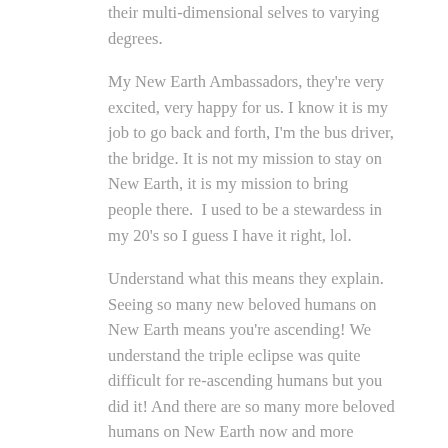their multi-dimensional selves to varying degrees.
My New Earth Ambassadors, they're very excited, very happy for us. I know it is my job to go back and forth, I'm the bus driver, the bridge. It is not my mission to stay on New Earth, it is my mission to bring people there.  I used to be a stewardess in my 20's so I guess I have it right, lol.
Understand what this means they explain. Seeing so many new beloved humans on New Earth means you're ascending! We understand the triple eclipse was quite difficult for re-ascending humans but you did it! And there are so many more beloved humans on New Earth now and more arriving every moment.
So we ask, continue spreading unconditional love and light, spreading the colors, the tones, the frequencies. It doesn't matter if the light is white, golden, Violet Flame. Pulling in what you feel, what